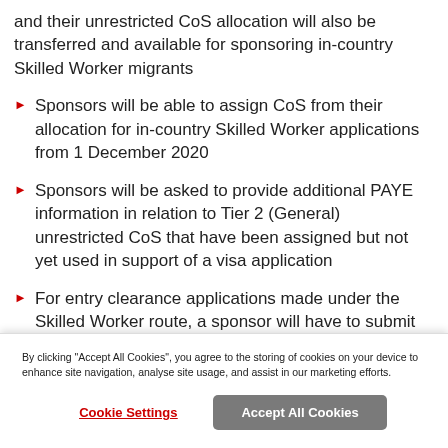and their unrestricted CoS allocation will also be transferred and available for sponsoring in-country Skilled Worker migrants
Sponsors will be able to assign CoS from their allocation for in-country Skilled Worker applications from 1 December 2020
Sponsors will be asked to provide additional PAYE information in relation to Tier 2 (General) unrestricted CoS that have been assigned but not yet used in support of a visa application
For entry clearance applications made under the Skilled Worker route, a sponsor will have to submit
By clicking "Accept All Cookies", you agree to the storing of cookies on your device to enhance site navigation, analyse site usage, and assist in our marketing efforts.